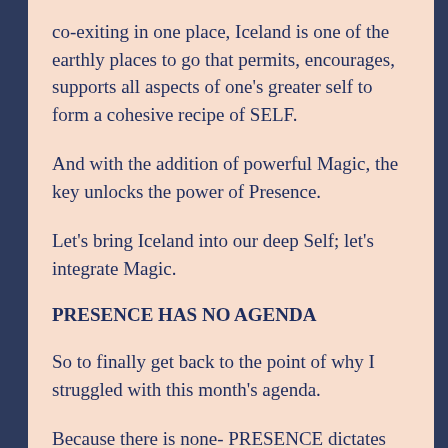co-exiting in one place, Iceland is one of the earthly places to go that permits, encourages, supports all aspects of one's greater self to form a cohesive recipe of SELF.
And with the addition of powerful Magic, the key unlocks the power of Presence.
Let's bring Iceland into our deep Self; let's integrate Magic.
PRESENCE HAS NO AGENDA
So to finally get back to the point of why I struggled with this month's agenda.
Because there is none- PRESENCE dictates that we stay in the flow of the moment to